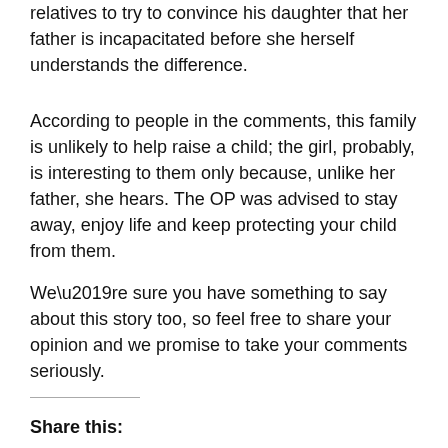relatives to try to convince his daughter that her father is incapacitated before she herself understands the difference.
According to people in the comments, this family is unlikely to help raise a child; the girl, probably, is interesting to them only because, unlike her father, she hears. The OP was advised to stay away, enjoy life and keep protecting your child from them.
We’re sure you have something to say about this story too, so feel free to share your opinion and we promise to take your comments seriously.
Share this: